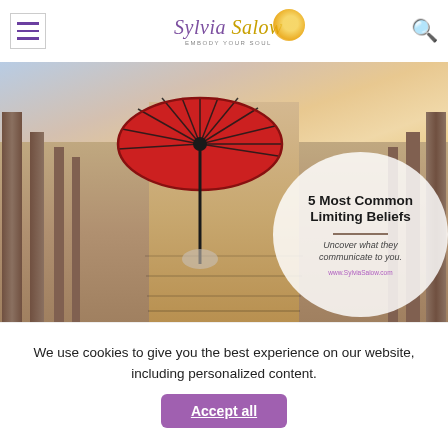Sylvia Salow — EMBODY YOUR SOUL
[Figure (photo): Woman walking on wooden bridge/walkway holding a large red parasol umbrella, viewed from behind, with a colorful sunset sky. Overlaid white circle with text: '5 Most Common Limiting Beliefs — Uncover what they communicate to you. www.SylviaSalow.com']
We use cookies to give you the best experience on our website, including personalized content.
Accept all